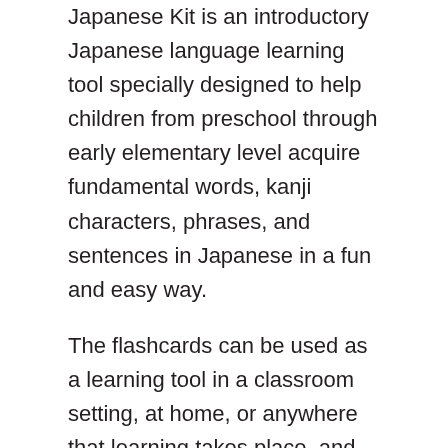Japanese Kit is an introductory Japanese language learning tool specially designed to help children from preschool through early elementary level acquire fundamental words, kanji characters, phrases, and sentences in Japanese in a fun and easy way.
The flashcards can be used as a learning tool in a classroom setting, at home, or anywhere that learning takes place, and can easily be taped around the room for an interactive way to learn Japanese. It contains: 64 Japanese flashcards An audio CD with recordings of songs, games and activities A wall chart showing the main words and phrases at a glance A learning guide for parents and teachers The flash cards present 64 basic words and phrases representing the full range of sounds in Japanese and organized into thematic categories, including: People Colors Animals Food Body Parts Clothing Going Places Also included in this Japanese for